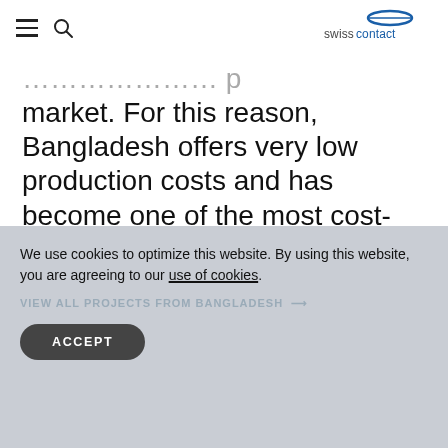[hamburger menu] [search icon] swisscontact
market. For this reason, Bangladesh offers very low production costs and has become one of the most cost-efficient production hubs.
We use cookies to optimize this website. By using this website, you are agreeing to our use of cookies.
VIEW ALL PROJECTS FROM BANGLADESH →
ACCEPT